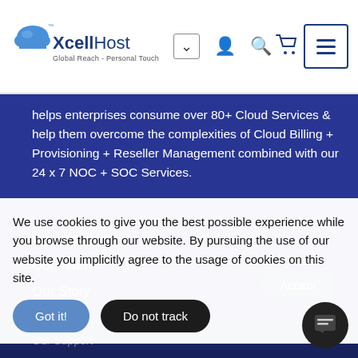[Figure (screenshot): XcellHost website header with logo, navigation icons (dropdown, user, search, cart, hamburger menu)]
helps enterprises consume over 80+ Cloud Services & help them overcome the complexities of Cloud Billing + Provisioning + Reseller Management combined with our 24 x 7 NOC + SOC Services.
Why Xcellhost
Our Team
Our Story
Our Achievements
Our Support
We use cookies to give you the best possible experience while you browse through our website. By pursuing the use of our website you implicitly agree to the usage of cookies on this site.
Got it!
Do not track